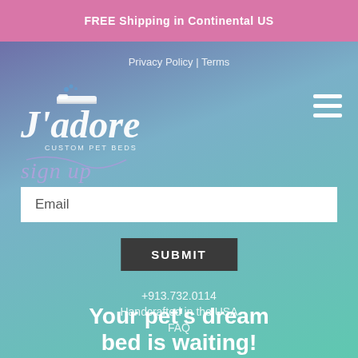FREE Shipping in Continental US
Privacy Policy | Terms
[Figure (logo): J'adore Custom Pet Beds logo with script lettering and small pet bed icon]
sign up
Email
SUBMIT
+913.732.0114
Handcrafted in the USA
FAQ
Your pet's dream bed is waiting!